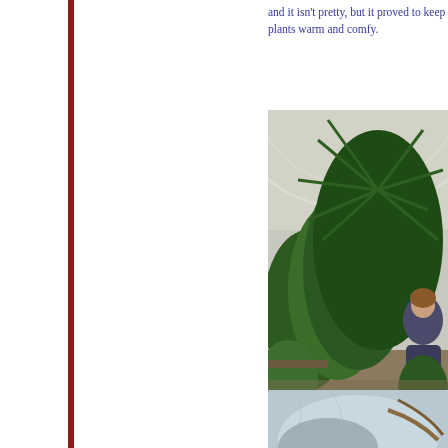and it isn't pretty, but it proved to keep plants warm and comfy.
[Figure (photo): Person wheeling large tropical plants inside a greenhouse/hoop house with arched plastic roof and green tropical plants.]
Toby Mize wheels large tropica... safeke...
[Figure (photo): Partial view of second photo showing what appears to be a wrapped or covered plant.]